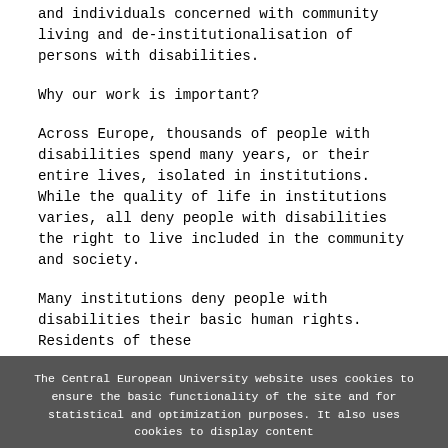and individuals concerned with community living and de-institutionalisation of persons with disabilities.
Why our work is important?
Across Europe, thousands of people with disabilities spend many years, or their entire lives, isolated in institutions. While the quality of life in institutions varies, all deny people with disabilities the right to live included in the community and society.
Many institutions deny people with disabilities their basic human rights. Residents of these
The Central European University website uses cookies to ensure the basic functionality of the site and for statistical and optimization purposes. It also uses cookies to display content